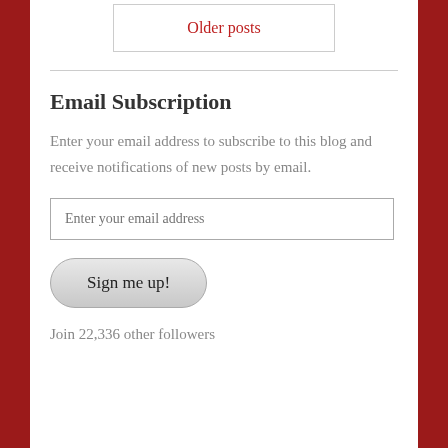Older posts
Email Subscription
Enter your email address to subscribe to this blog and receive notifications of new posts by email.
Enter your email address
Sign me up!
Join 22,336 other followers